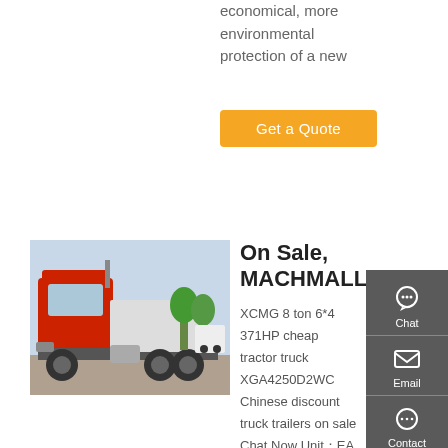economical, more environmental protection of a new
Get a Quote
[Figure (photo): Red XCMG heavy-duty tractor truck parked in a yard, side view showing cab and rear axle configuration]
On Sale, MACHMALL
XCMG 8 ton 6*4 371HP cheap tractor truck XGA4250D2WC Chinese discount truck trailers on sale Chat Now Unit：EA 1 EA (Min. Order) Favorite Products Category: On Sale >> Heavy-duty Trucks On Sale >> Tractor Truck On Sale XCMG E